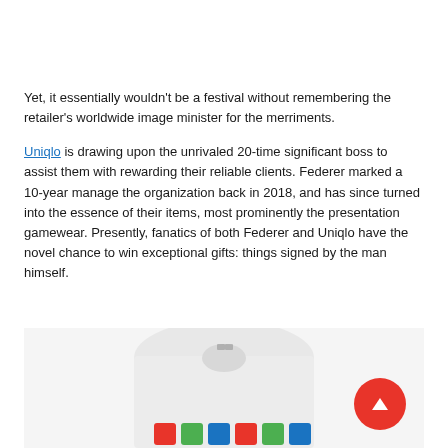Yet, it essentially wouldn't be a festival without remembering the retailer's worldwide image minister for the merriments.
Uniqlo is drawing upon the unrivaled 20-time significant boss to assist them with rewarding their reliable clients. Federer marked a 10-year manage the organization back in 2018, and has since turned into the essence of their items, most prominently the presentation gamewear. Presently, fanatics of both Federer and Uniqlo have the novel chance to win exceptional gifts: things signed by the man himself.
[Figure (photo): A white polo/tennis shirt with colorful Uniqlo logo at the bottom, shown from the back/front on a light background]